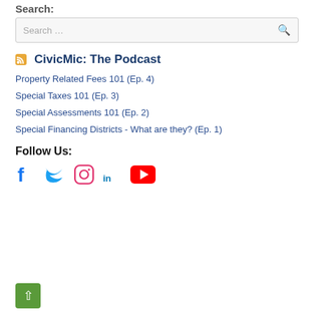Search:
Search ...
CivicMic: The Podcast
Property Related Fees 101 (Ep. 4)
Special Taxes 101 (Ep. 3)
Special Assessments 101 (Ep. 2)
Special Financing Districts - What are they? (Ep. 1)
Follow Us:
[Figure (other): Social media icons: Facebook, Twitter, Instagram, LinkedIn, YouTube]